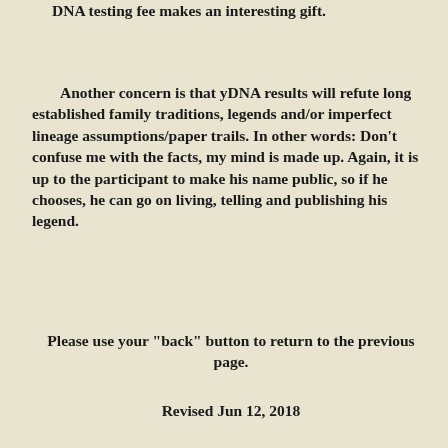DNA testing fee makes an interesting gift.
Another concern is that yDNA results will refute long established family traditions, legends and/or imperfect lineage assumptions/paper trails. In other words: Don't confuse me with the facts, my mind is made up. Again, it is up to the participant to make his name public, so if he chooses, he can go on living, telling and publishing his legend.
Please use your "back" button to return to the previous page.
Revised Jun 12, 2018